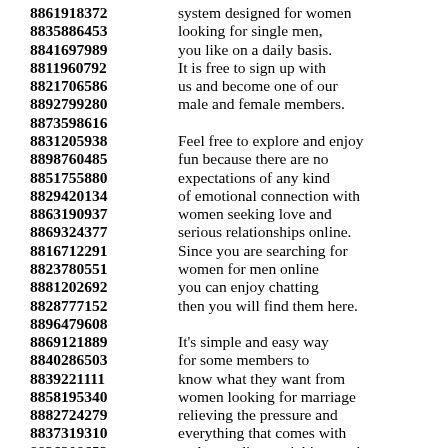8861918372 system designed for women
8835886453 looking for single men,
8841697989 you like on a daily basis.
8811960792 It is free to sign up with
8821706586 us and become one of our
8892799280 male and female members.
8873598616
8831205938 Feel free to explore and enjoy
8898760485 fun because there are no
8851755880 expectations of any kind
8829420134 of emotional connection with
8863190937 women seeking love and
8869324377 serious relationships online.
8816712291 Since you are searching for
8823780551 women for men online
8881202692 you can enjoy chatting
8828777152 then you will find them here.
8896479608
8869121889 It's simple and easy way
8840286503 for some members to
8839221111 know what they want from
8858195340 women looking for marriage
8882724279 relieving the pressure and
8837319310 everything that comes with
8826308652 understanding social interactions.